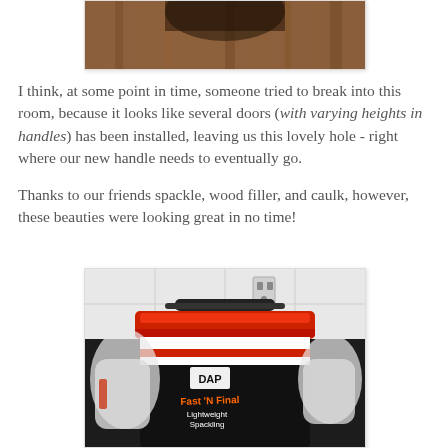[Figure (photo): Partial photo of a wooden door, cropped at top of page]
I think, at some point in time, someone tried to break into this room, because it looks like several doors (with varying heights in handles) has been installed, leaving us this lovely hole - right where our new handle needs to eventually go.
Thanks to our friends spackle, wood filler, and caulk, however, these beauties were looking great in no time!
[Figure (photo): Photo of a DAP Fast 'N Final Lightweight Spackling bucket with red lid and other supplies on a dark surface]